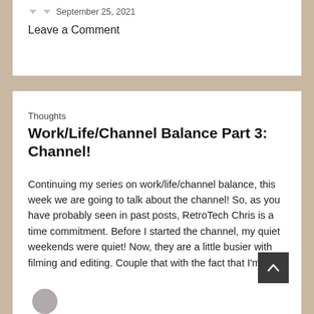September 25, 2021
Leave a Comment
Thoughts
Work/Life/Channel Balance Part 3: Channel!
Continuing my series on work/life/channel balance, this week we are going to talk about the channel! So, as you have probably seen in past posts, RetroTech Chris is a time commitment. Before I started the channel, my quiet weekends were quiet! Now, they are a little busier with filming and editing. Couple that with the fact that I'm [...]